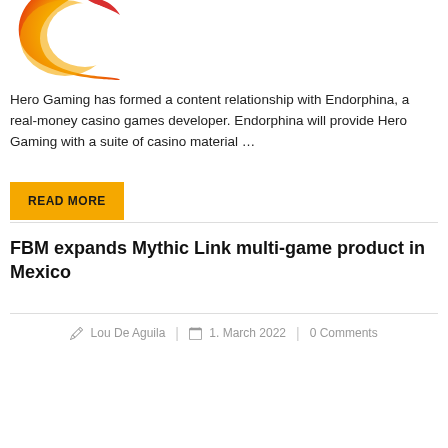[Figure (logo): Partial crescent-shaped logo in red, orange, and yellow gradient (appears to be a gaming/casino brand logo, cropped at top)]
Hero Gaming has formed a content relationship with Endorphina, a real-money casino games developer. Endorphina will provide Hero Gaming with a suite of casino material …
READ MORE
FBM expands Mythic Link multi-game product in Mexico
Lou De Aguila | 1. March 2022 | 0 Comments